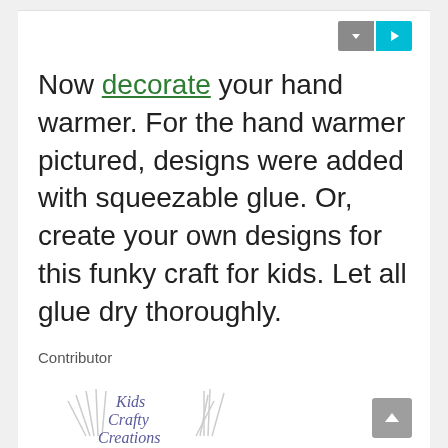[Figure (logo): Two small icon buttons: a gray dropdown arrow button and a teal play/share button, in the top-right corner of the card.]
Now decorate your hand warmer. For the hand warmer pictured, designs were added with squeezable glue. Or, create your own designs for this funky craft for kids. Let all glue dry thoroughly.
Contributor
[Figure (logo): Kids Crafty Creations logo: handwritten-style text with hand/finger outlines on sides, colorful stripe bar at bottom (green, blue, yellow, orange, red, purple).]
[Figure (other): Gray scroll-to-top button with upward arrow in bottom-right corner.]